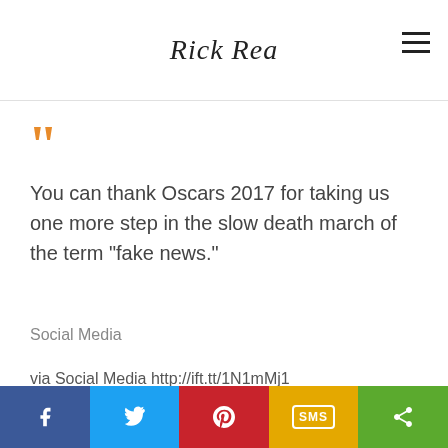Rick Rea
You can thank Oscars 2017 for taking us one more step in the slow death march of the term "fake news."
Social Media
via Social Media http://ift.tt/1N1mMj1